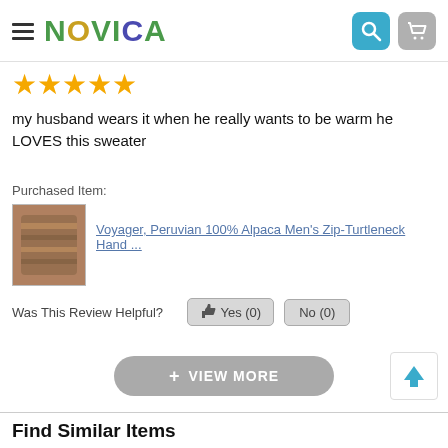NOVICA
[Figure (other): 5 gold star rating]
my husband wears it when he really wants to be warm he LOVES this sweater
Purchased Item:
[Figure (photo): Thumbnail photo of a man wearing a striped alpaca turtleneck sweater]
Voyager, Peruvian 100% Alpaca Men's Zip-Turtleneck Hand ...
Was This Review Helpful? Yes (0) No (0)
+ VIEW MORE
Find Similar Items